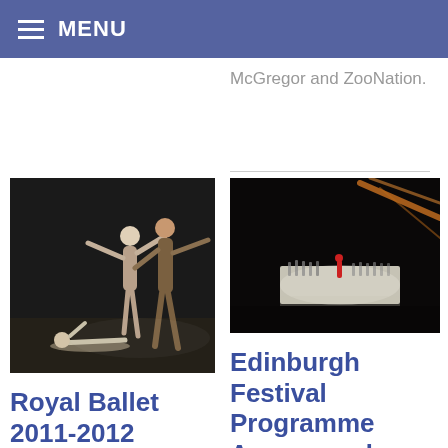MENU
McGregor and ZooNation.
[Figure (photo): Ballet dancers performing on a dark stage — two standing dancers with outstretched arms and one seated on the floor]
Royal Ballet 2011-2012
2011–2012 will be Monica Mason's final season as director of
[Figure (photo): Theatre stage scene with dramatic lighting showing performers in distance and a spotlight area, dark background with orange streaks]
Edinburgh Festival Programme Announced
The Edinburgh